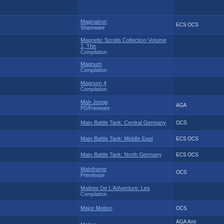|  | Title / Type | Chipset |
| --- | --- | --- |
|  |  |  |
|  | Magnatron
Shareware | ECS OCS |
|  | Magnetic Scrolls Collection Volume 1, The
Compilation |  |
|  | Magnum
Compilation |  |
|  | Magnum 4
Compilation |  |
|  | Mah Jongg
PD/Freeware | AGA |
|  | Main Battle Tank: Central Germany | OCS |
|  | Main Battle Tank: Middle East | ECS OCS |
|  | Main Battle Tank: North Germany | ECS OCS |
|  | Mainframe
Prerelease | OCS |
|  | Maitres De L'Adventure, Les
Compilation |  |
|  | Major Motion | OCS |
|  | Malice | AGA Ami RTG |
|  | Malta Storm | OCS |
|  | Maltese Joe's 3D Pool
Prerelease | OCS |